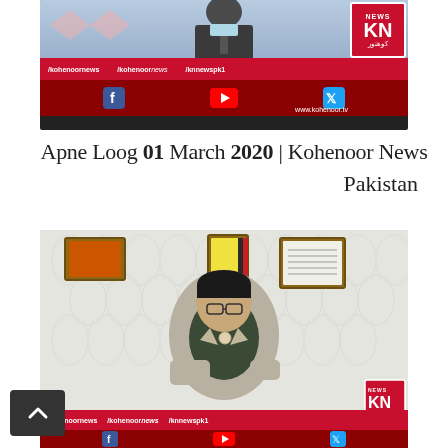[Figure (screenshot): Kohenoor News TV channel screenshot showing a news anchor with social media handles /kohenoornews /kohenoor news /knnewspk1 and KN News logo with website www.kohenoor.tv]
Apne Loog 01 March 2020 | Kohenoor News Pakistan
[Figure (screenshot): Kohenoor News TV channel screenshot showing a man with glasses in a grey suit sitting in a studio, with KN News logo overlay and social media handles]